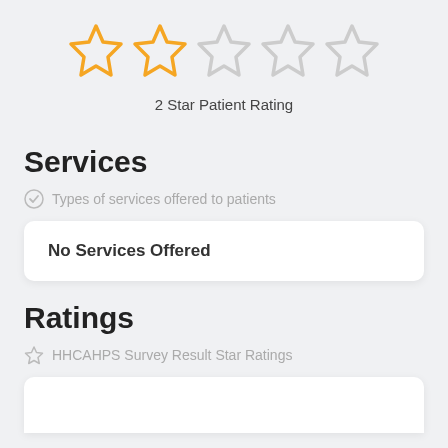[Figure (other): 2 filled gold stars and 3 empty/outline stars representing a 2-star patient rating]
2 Star Patient Rating
Services
Types of services offered to patients
No Services Offered
Ratings
HHCAHPS Survey Result Star Ratings